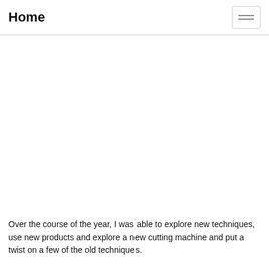[Figure (photo): Three faded/light photo thumbnails in a horizontal strip at the top of the page]
Home
Over the course of the year, I was able to explore new techniques, use new products and explore a new cutting machine and put a twist on a few of the old techniques.